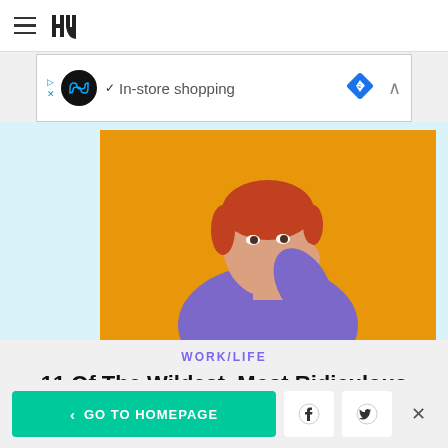HuffPost navigation header
[Figure (other): Ad banner for in-store shopping with logo, checkmark, and navigation arrow]
[Figure (photo): Person in purple t-shirt covering mouth with hand against orange background]
WORK/LIFE
11 Of The Wildest, Most Ridiculous Requests Assistants Have Gotten From Their Bosses
< GO TO HOMEPAGE | Facebook share | Twitter share | Close